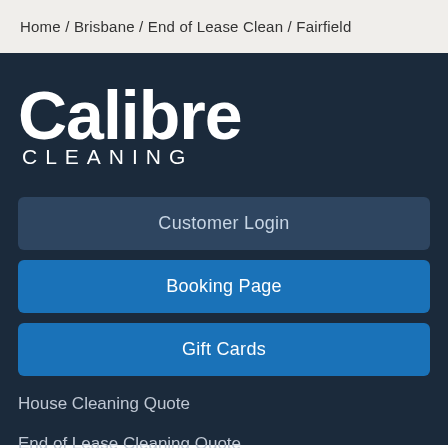Home / Brisbane / End of Lease Clean / Fairfield
[Figure (logo): Calibre Cleaning logo — large white bold 'Calibre' text with 'CLEANING' in spaced capital letters below]
Customer Login
Booking Page
Gift Cards
House Cleaning Quote
End of Lease Cleaning Quote